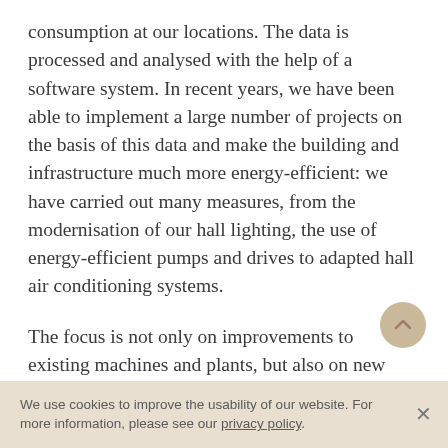consumption at our locations. The data is processed and analysed with the help of a software system. In recent years, we have been able to implement a large number of projects on the basis of this data and make the building and infrastructure much more energy-efficient: we have carried out many measures, from the modernisation of our hall lighting, the use of energy-efficient pumps and drives to adapted hall air conditioning systems.
The focus is not only on improvements to existing machines and plants, but also on new technologies: for some years now, we have been generating electricity for our own needs using combined heat
[Figure (other): Round beige/tan scroll-to-top button with upward chevron arrow]
We use cookies to improve the usability of our website. For more information, please see our privacy policy.